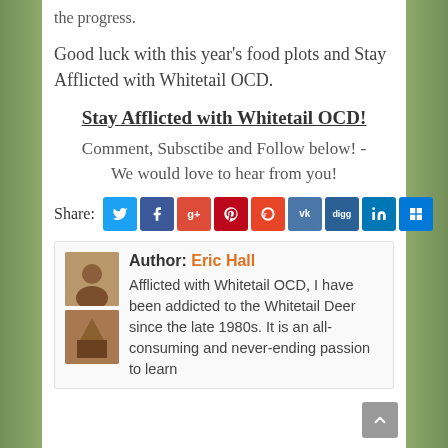the progress.
Good luck with this year’s food plots and Stay Afflicted with Whitetail OCD.
Stay Afflicted with Whitetail OCD!
Comment, Subsctibe and Follow below! - We would love to hear from you!
Share:
[Figure (infographic): Row of social media share icon buttons: Twitter, Facebook, Google+, Pinterest, Reddit, VK, Digg, LinkedIn, Windows]
Author: Eric Hall
Afflicted with Whitetail OCD, I have been addicted to the Whitetail Deer since the late 1980s. It is an all-consuming and never-ending passion to learn